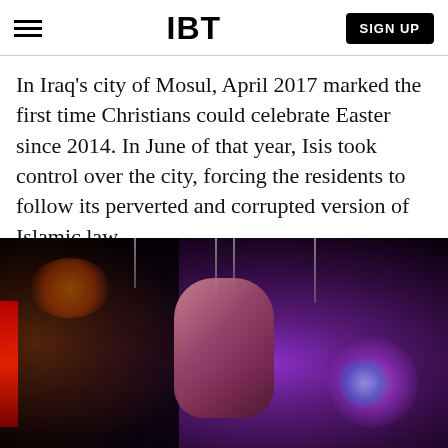IBT
In Iraq's city of Mosul, April 2017 marked the first time Christians could celebrate Easter since 2014. In June of that year, Isis took control over the city, forcing the residents to follow its perverted and corrupted version of Islamic law.
[Figure (photo): A dark, dramatic photograph with purple and red lighting showing figures suspended with ropes, against a dark background with vibrant purple glowing lights.]